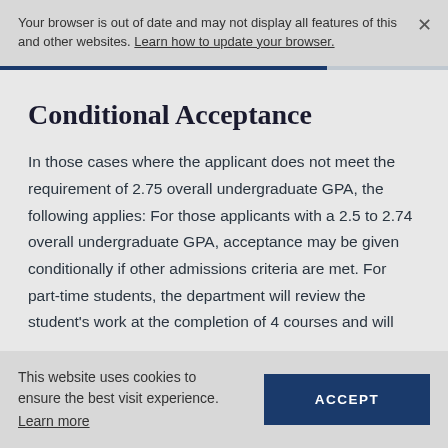Your browser is out of date and may not display all features of this and other websites. Learn how to update your browser.
Conditional Acceptance
Conditional Acceptance
In those cases where the applicant does not meet the requirement of 2.75 overall undergraduate GPA, the following applies: For those applicants with a 2.5 to 2.74 overall undergraduate GPA, acceptance may be given conditionally if other admissions criteria are met. For part-time students, the department will review the student's work at the completion of 4 courses and will
This website uses cookies to ensure the best visit experience. Learn more
ACCEPT